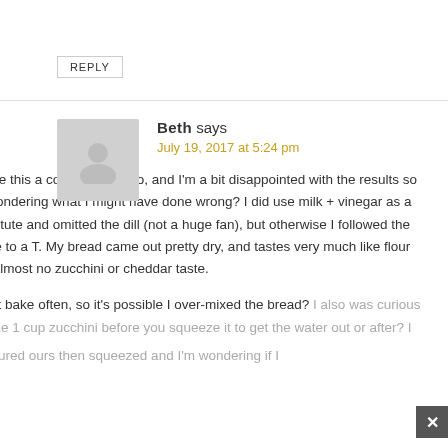REPLY
Beth says
July 19, 2017 at 5:24 pm
I made this a couple days ago, and I'm a bit disappointed with the results so I'm wondering what I might have done wrong? I did use milk + vinegar as a substitute and omitted the dill (not a huge fan), but otherwise I followed the recipe to a T. My bread came out pretty dry, and tastes very much like flour with almost no zucchini or cheddar taste.

I don't bake often, so it's possible I over-mixed the bread? I also was curious – is the 1 cup zucchini before you squeeze it to get the water out or after? I measured ours then squeezed and I'm wondering if I ...